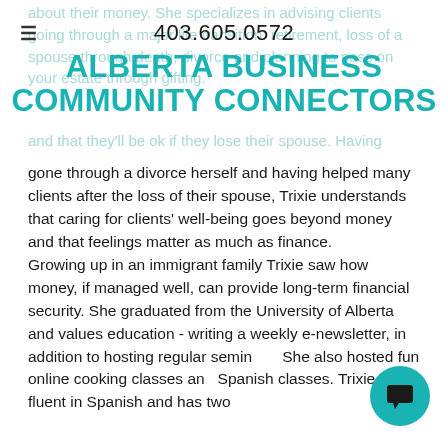403.605.0572
ALBERTA BUSINESS COMMUNITY CONNECTORS
gone through a divorce herself and having helped many clients after the loss of their spouse, Trixie understands that caring for clients' well-being goes beyond money and that feelings matter as much as finance.
Growing up in an immigrant family Trixie saw how money, if managed well, can provide long-term financial security. She graduated from the University of Alberta and values education - writing a weekly e-newsletter, in addition to hosting regular seminars. She also hosted fun online cooking classes and Spanish classes. Trixie is fluent in Spanish and has two